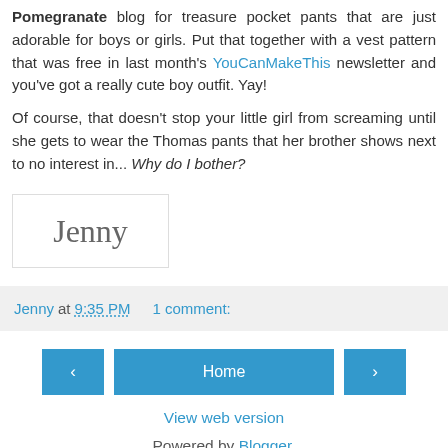Pomegranate blog for treasure pocket pants that are just adorable for boys or girls. Put that together with a vest pattern that was free in last month's YouCanMakeThis newsletter and you've got a really cute boy outfit. Yay!
Of course, that doesn't stop your little girl from screaming until she gets to wear the Thomas pants that her brother shows next to no interest in... Why do I bother?
[Figure (illustration): Handwritten signature reading 'Jenny' in cursive script, inside a bordered box]
Jenny at 9:35 PM   1 comment:
< Home > View web version Powered by Blogger.